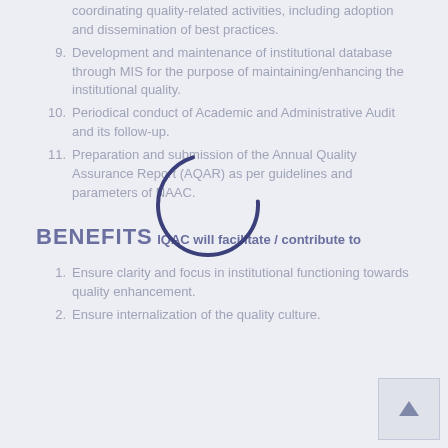coordinating quality-related activities, including adoption and dissemination of best practices.
9. Development and maintenance of institutional database through MIS for the purpose of maintaining/enhancing the institutional quality.
10. Periodical conduct of Academic and Administrative Audit and its follow-up.
11. Preparation and submission of the Annual Quality Assurance Report (AQAR) as per guidelines and parameters of NAAC.
BENEFITS
IQAC will facilitate / contribute to
1. Ensure clarity and focus in institutional functioning towards quality enhancement.
2. Ensure internalization of the quality culture.